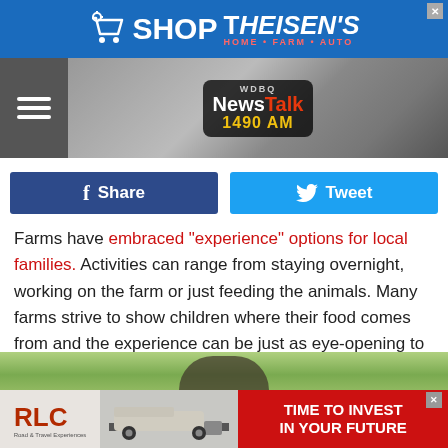[Figure (other): Top advertisement banner for Shop Theisen's Home Farm Auto]
[Figure (other): WDBQ NewsTalk 1490 AM radio station header/logo navigation bar with hamburger menu]
[Figure (other): Facebook Share and Twitter Tweet social media buttons]
Farms have embraced "experience" options for local families. Activities can range from staying overnight, working on the farm or just feeding the animals. Many farms strive to show children where their food comes from and the experience can be just as eye-opening to adults.

ALSO: Many farms have stores where produce and meat grown on the farms can be purchased.
[Figure (photo): Green outdoor nature background with child silhouette]
[Figure (other): Bottom advertisement banner: RLC truck logistics company with TIME TO INVEST IN YOUR FUTURE red panel]